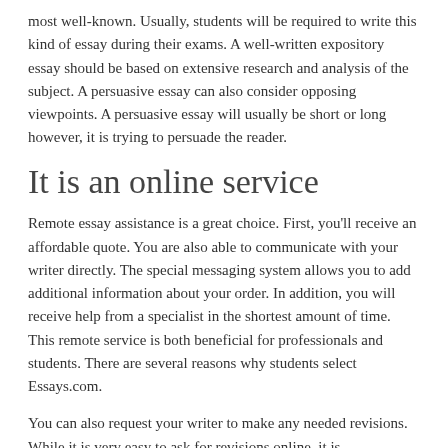most well-known. Usually, students will be required to write this kind of essay during their exams. A well-written expository essay should be based on extensive research and analysis of the subject. A persuasive essay can also consider opposing viewpoints. A persuasive essay will usually be short or long however, it is trying to persuade the reader.
It is an online service
Remote essay assistance is a great choice. First, you'll receive an affordable quote. You are also able to communicate with your writer directly. The special messaging system allows you to add additional information about your order. In addition, you will receive help from a specialist in the shortest amount of time. This remote service is both beneficial for professionals and students. There are several reasons why students select Essays.com.
You can also request your writer to make any needed revisions. While it is very easy to ask for revisions online, it is